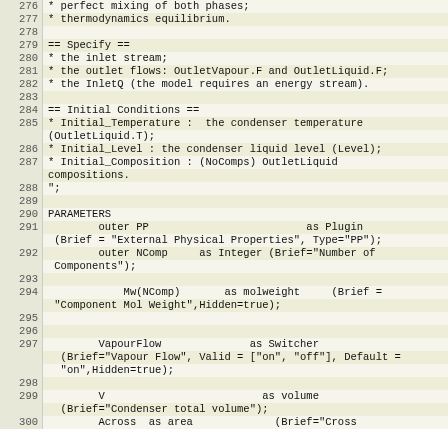Code listing lines 276-300 of a simulation model source file showing PARAMETERS section with PP, NComp, Mw, VapourFlow, V, Across declarations and documentation comments for Specify and Initial Conditions sections.